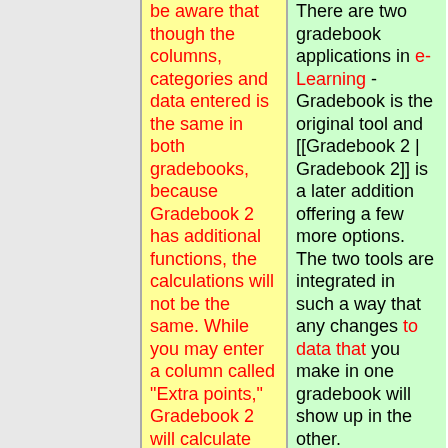be aware that though the columns, categories and data entered is the same in both gradebooks, because Gradebook 2 has additional functions, the calculations will not be the same. While you may enter a column called "Extra points," Gradebook 2 will calculate that as true extra credit, where Gradebook does not have that ability. If you tell Gradebook 2 to drop the lowest score in a category, the
There are two gradebook applications in e-Learning - Gradebook is the original tool and [[Gradebook 2 | Gradebook 2]] is a later addition offering a few more options. The two tools are integrated in such a way that any changes to data that you make in one gradebook will show up in the other.